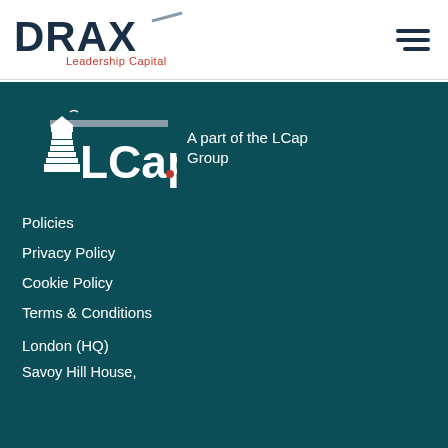[Figure (logo): DRAX Leadership Capital logo in dark navy with stylized X and grey accent, top left of page header]
[Figure (other): Hamburger/menu icon — three horizontal dark navy bars, top right of page header]
[Figure (logo): LCap Group logo — white lighthouse and LCap wordmark on dark teal background]
A part of the LCap Group
Policies
Privacy Policy
Cookie Policy
Terms & Conditions
London (HQ)
Savoy Hill House,